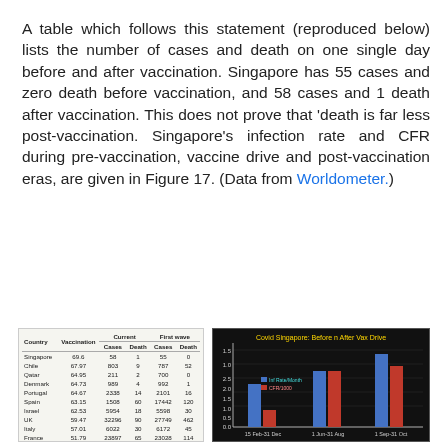A table which follows this statement (reproduced below) lists the number of cases and death on one single day before and after vaccination. Singapore has 55 cases and zero death before vaccination, and 58 cases and 1 death after vaccination. This does not prove that 'death is far less post-vaccination. Singapore's infection rate and CFR during pre-vaccination, vaccine drive and post-vaccination eras, are given in Figure 17. (Data from Worldometer.)
[Figure (table-as-image): Table showing vaccination rates, current cases/deaths, and first wave cases/deaths for multiple countries including Singapore, Chile, Qatar, Denmark, Portugal, Spain, Israel, UK, Italy, France, USA]
[Figure (grouped-bar-chart): Covid Singapore: Before n After Vax Drive]